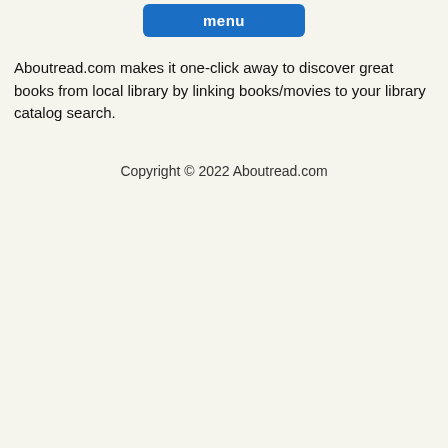menu
Aboutread.com makes it one-click away to discover great books from local library by linking books/movies to your library catalog search.
Copyright © 2022 Aboutread.com